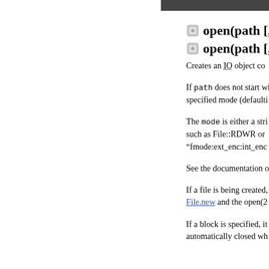open(path [, mo...
open(path [, mo...
Creates an IO object co...
If path does not start wi... specified mode (defaulti...
The mode is either a stri... such as File::RDWR or ... "fmode:ext_enc:int_enc...
See the documentation o...
If a file is being created,... File.new and the open(2...
If a block is specified, it... automatically closed wh...